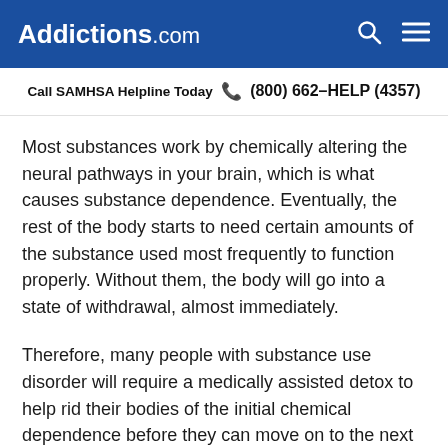Addictions.com
Call SAMHSA Helpline Today  (800) 662-HELP (4357)
Most substances work by chemically altering the neural pathways in your brain, which is what causes substance dependence. Eventually, the rest of the body starts to need certain amounts of the substance used most frequently to function properly. Without them, the body will go into a state of withdrawal, almost immediately.
Therefore, many people with substance use disorder will require a medically assisted detox to help rid their bodies of the initial chemical dependence before they can move on to the next part of their treatment program.